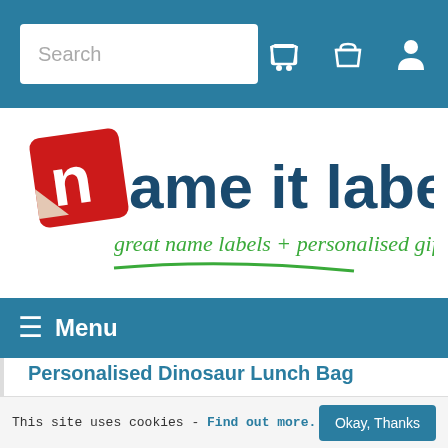Search [nav bar with cart and user icons]
[Figure (logo): Name It Labels logo: red square with white 'n', dark blue text 'ame it labels', green cursive tagline 'great name labels + personalised gifts', green underline swoosh]
≡ Menu
Personalised Dinosaur Lunch Bag
£12.00
This site uses cookies - Find out more. [Okay, Thanks button]